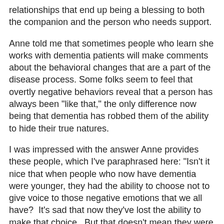relationships that end up being a blessing to both the companion and the person who needs support.
Anne told me that sometimes people who learn she works with dementia patients will make comments about the behavioral changes that are a part of the disease process. Some folks seem to feel that overtly negative behaviors reveal that a person has always been "like that," the only difference now being that dementia has robbed them of the ability to hide their true natures.
I was impressed with the answer Anne provides these people, which I've paraphrased here: "Isn't it nice that when people who now have dementia were younger, they had the ability to choose not to give voice to those negative emotions that we all have?  It's sad that now they've lost the ability to make that choice.  But that doesn't mean they were bad before or that they've changed now--they are the same on the inside although they may act differently on the outside."
I joked that the reason I thought these words were so wise is that I agreed with them so strongly! Negative behaviors need